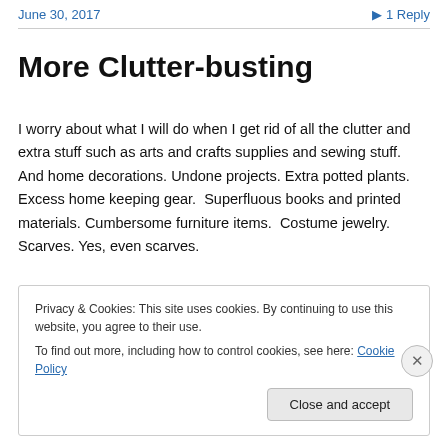June 30, 2017    1 Reply
More Clutter-busting
I worry about what I will do when I get rid of all the clutter and extra stuff such as arts and crafts supplies and sewing stuff. And home decorations. Undone projects. Extra potted plants. Excess home keeping gear.  Superfluous books and printed materials. Cumbersome furniture items.  Costume jewelry. Scarves. Yes, even scarves.
Privacy & Cookies: This site uses cookies. By continuing to use this website, you agree to their use.
To find out more, including how to control cookies, see here: Cookie Policy
Close and accept